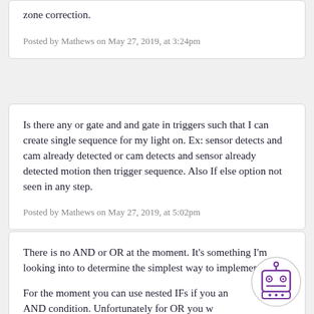zone correction.
Posted by Mathews on May 27, 2019, at 3:24pm
Is there any or gate and and gate in triggers such that I can create single sequence for my light on. Ex: sensor detects and cam already detected or cam detects and sensor already detected motion then trigger sequence. Also If else option not seen in any step.
Posted by Mathews on May 27, 2019, at 5:02pm
There is no AND or OR at the moment. It's something I'm looking into to determine the simplest way to implement it.

For the moment you can use nested IFs if you an AND condition. Unfortunately for OR you w need to create a separate IF block.
[Figure (illustration): Robot avatar icon with purple outline, showing a cute robot face with antenna, eyes, and panel lines in a circular frame]